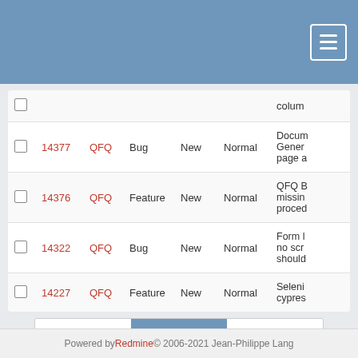|  | # | Project | Tracker | Status | Priority | Subject |
| --- | --- | --- | --- | --- | --- | --- |
|  |  |  |  |  |  | colum... |
|  | 14377 | QFQ | Bug | New | Normal | Docum... Gener... page a... |
|  | 14376 | QFQ | Feature | New | Normal | QFQ B... missin... proced... |
|  | 14322 | QFQ | Bug | New | Normal | Form l... no scr... should... |
|  | 14227 | QFQ | Feature | New | Normal | Seleni... cypres... |
« Previous  5  Next »
(201-250/566) Per page: 25, 50, 100
Also available in: Atom | CSV | PDF
Powered by Redmine © 2006-2021 Jean-Philippe Lang